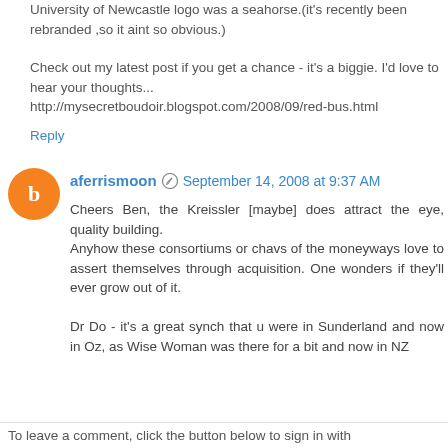University of Newcastle logo was a seahorse.(it's recently been rebranded ,so it aint so obvious.)
Check out my latest post if you get a chance - it's a biggie. I'd love to hear your thoughts... http://mysecretboudoir.blogspot.com/2008/09/red-bus.html
Reply
aferrismoon  September 14, 2008 at 9:37 AM
Cheers Ben, the Kreissler [maybe] does attract the eye, quality building.
Anyhow these consortiums or chavs of the moneyways love to assert themselves through acquisition. One wonders if they'll ever grow out of it.

Dr Do - it's a great synch that u were in Sunderland and now in Oz, as Wise Woman was there for a bit and now in NZ
Reply
To leave a comment, click the button below to sign in with